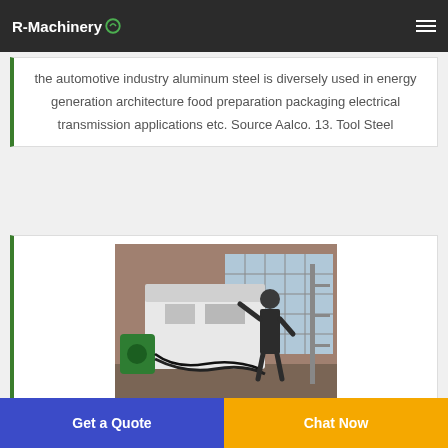R-Machinery
the automotive industry aluminum steel is diversely used in energy generation architecture food preparation packaging electrical transmission applications etc. Source Aalco. 13. Tool Steel
[Figure (photo): Factory worker operating industrial machinery, likely a metal processing or recycling machine, inside a manufacturing facility.]
Get a Quote | Chat Now